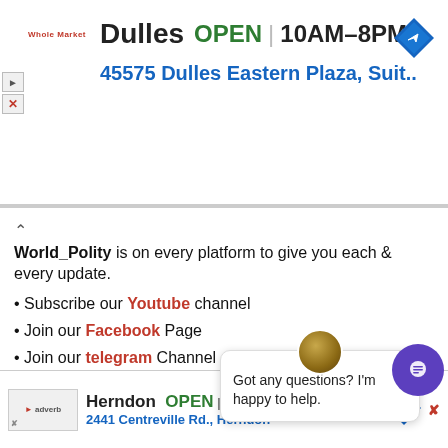[Figure (screenshot): Top advertisement banner for Whole Foods Market Dulles location showing store name, OPEN status, hours 10AM-8PM, and address 45575 Dulles Eastern Plaza, Suit..., with navigation arrow icon]
World_Polity is on every platform to give you each & every update.
• Subscribe our Youtube channel
• Join our Facebook Page
• Join our telegram Channel
* Recent Most Searche
* List of Alternative Na
* National Parks in Assam 2021 for APSC
* Assam Government Newly Launched Scheme
[Figure (screenshot): Chat popup widget with avatar icon saying 'Got any questions? I'm happy to help.']
[Figure (screenshot): Bottom advertisement banner for Herndon location showing OPEN, 11AM-6PM, 2441 Centreville Rd., Herndon with navigation icon]